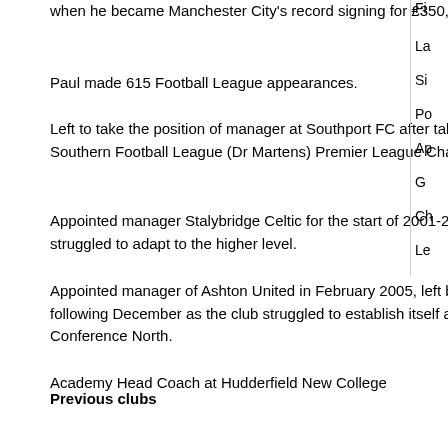when he became Manchester City's record signing for £350,000 on June 1, 1978
Paul made 615 Football League appearances.
Left to take the position of manager at Southport FC after taking Gresley Rovers to the Southern Football League (Dr Martens) Premier League Championship 1996-1997.
Appointed manager Stalybridge Celtic for the start of 2001-2002 but left after the team struggled to adapt to the higher level.
Appointed manager of Ashton United in February 2005, left by mutual consent the following December as the club struggled to establish itself after relegation from Conference North.
Academy Head Coach at Hudderfield New College
Paul sadly died after a long illness on 24th November 2016 aged 60 years.
Previous clubs
Droylsden, (manager) Darlington, (manager) Grimsby, (manager) Chester City, Luton Town, Manchester City, Oldham Athletic, Derby County, Barnsley, Halifax, Grimsby.